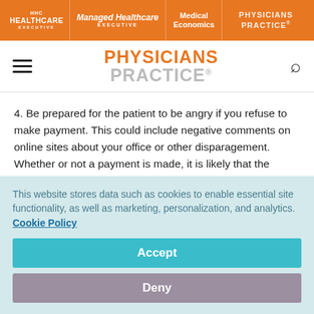HHC HEALTHCARE EXECUTIVE | Managed Healthcare EXECUTIVE | Medical Economics | PHYSICIANS PRACTICE
PHYSICIANS PRACTICE
4. Be prepared for the patient to be angry if you refuse to make payment. This could include negative comments on online sites about your office or other disparagement. Whether or not a payment is made, it is likely that the physician-patient relationship should be terminated, as it will be difficult to continue to care for the patient (and possibly
This website stores data such as cookies to enable essential site functionality, as well as marketing, personalization, and analytics. Cookie Policy
Accept
Deny